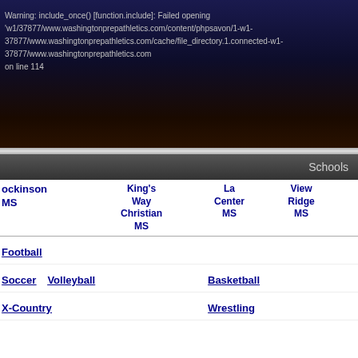Warning: include_once() [function.include]: Failed opening 'w1/37877/www.washingtonprepathletics.com/content/phpsavon/1-w1-37877/www.washingtonprepathletics.com/cache/file_directory.1.connected-w1-37877/www.washingtonprepathletics.com on line 114
| ockinson MS | King's Way Christian MS | La Center MS | View Ridge MS |
| --- | --- | --- | --- |
| Football |  |  |  |
| Soccer  Volleyball |  | Basketball |  |
| X-Country |  | Wrestling |  |